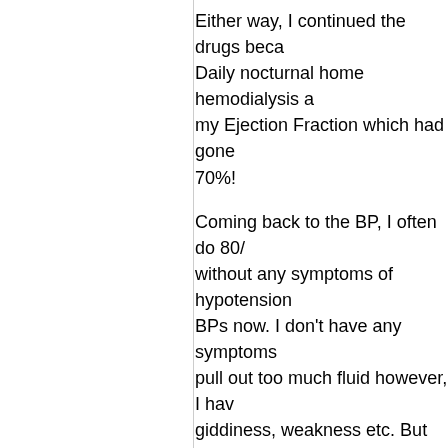Either way, I continued the drugs beca... Daily nocturnal home hemodialysis a... my Ejection Fraction which had gone ... 70%!
Coming back to the BP, I often do 80/... without any symptoms of hypotension BPs now. I don't have any symptoms pull out too much fluid however, I hav... giddiness, weakness etc. But not due
I have been a little concerned about t... my overall health? I have heard from major surgeries if the BP is too low be... general anesthesia.
So I talked to my HPS classmate and... He said that as long as I did not have right. So, I am going to let this be for n...
The key, I think, is the symptoms. If ye... anything about it.
... http://www.kamaldshah.com/2012/0... low-is.html